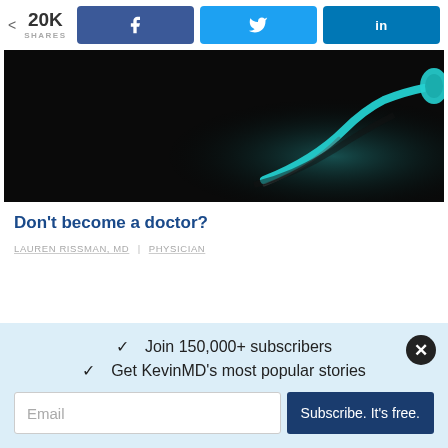< 20K SHARES
[Figure (screenshot): Social share buttons: Facebook (blue), Twitter (light blue), LinkedIn (dark blue)]
[Figure (photo): Dark image of a stethoscope with teal/cyan coloring against black background]
Don't become a doctor?
LAUREN RISSMAN, MD | PHYSICIAN
✓  Join 150,000+ subscribers
✓  Get KevinMD's most popular stories
Email
Subscribe. It's free.